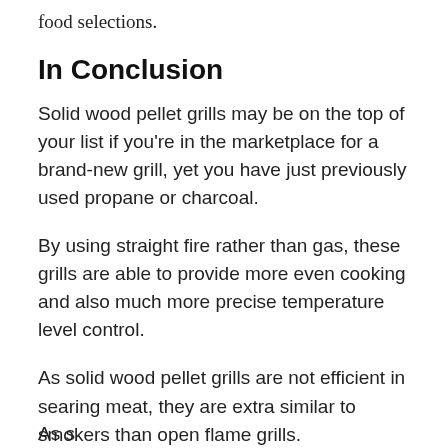food selections.
In Conclusion
Solid wood pellet grills may be on the top of your list if you're in the marketplace for a brand-new grill, yet you have just previously used propane or charcoal.
By using straight fire rather than gas, these grills are able to provide more even cooking and also much more precise temperature level control.
As solid wood pellet grills are not efficient in searing meat, they are extra similar to smokers than open flame grills.
... (cut off at bottom)